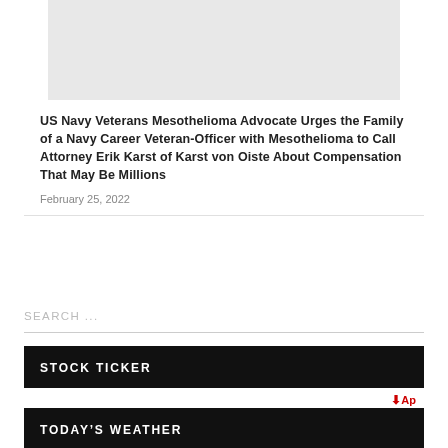[Figure (map): Gray map image placeholder at top of page]
US Navy Veterans Mesothelioma Advocate Urges the Family of a Navy Career Veteran-Officer with Mesothelioma to Call Attorney Erik Karst of Karst von Oiste About Compensation That May Be Millions
February 25, 2022
SEARCH ...
STOCK TICKER
↓ Ap
TODAY'S WEATHER